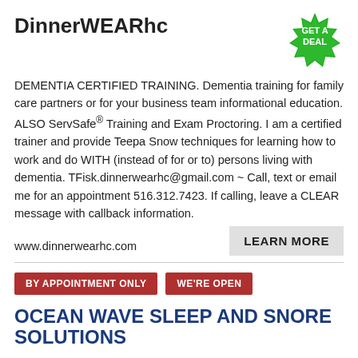DinnerWEARhc
[Figure (illustration): Green starburst/seal badge with text GET A DEAL]
DEMENTIA CERTIFIED TRAINING. Dementia training for family care partners or for your business team informational education. ALSO ServSafe® Training and Exam Proctoring. I am a certified trainer and provide Teepa Snow techniques for learning how to work and do WITH (instead of for or to) persons living with dementia. TFisk.dinnerwearhc@gmail.com ~ Call, text or email me for an appointment 516.312.7423. If calling, leave a CLEAR message with callback information.
www.dinnerwearhc.com
LEARN MORE
BY APPOINTMENT ONLY
WE'RE OPEN
OCEAN WAVE SLEEP AND SNORE SOLUTIONS
Are you getting the most refreshing nights sleep? Did you know